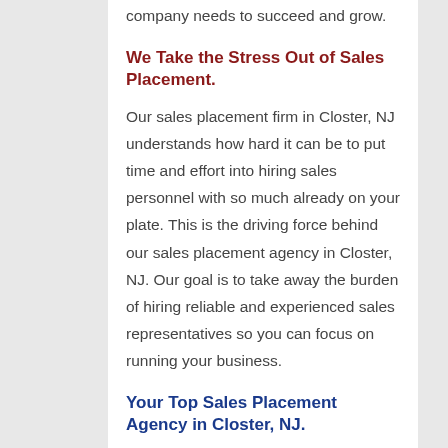company needs to succeed and grow.
We Take the Stress Out of Sales Placement.
Our sales placement firm in Closter, NJ understands how hard it can be to put time and effort into hiring sales personnel with so much already on your plate. This is the driving force behind our sales placement agency in Closter, NJ. Our goal is to take away the burden of hiring reliable and experienced sales representatives so you can focus on running your business.
Your Top Sales Placement Agency in Closter, NJ.
Our sales placement company in Closter, NJ's main focus is to bring results to your business without all the hassle and stress that come with hiring sales personnel.